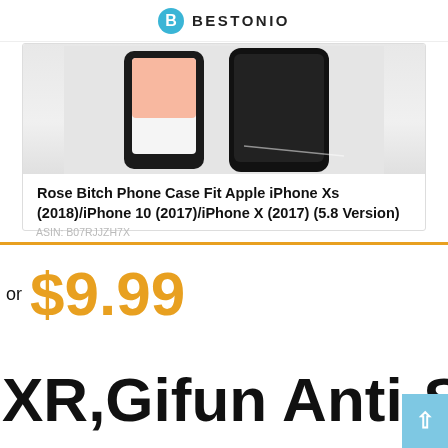BESTONIO
[Figure (photo): Partial screenshot of a product listing page showing a phone case product image (black case on iPhone) and product title card]
Rose Bitch Phone Case Fit Apple iPhone Xs (2018)/iPhone 10 (2017)/iPhone X (2017) (5.8 Version)
ASIN: B07RJJZH7X
or $9.99
XR,Gifun Anti-Sli